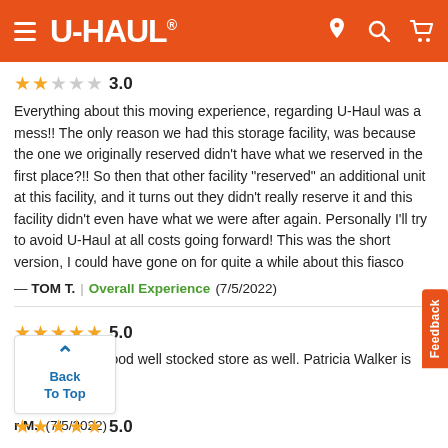U-HAUL
3.0 rating (2 filled stars, 3 empty stars)
Everything about this moving experience, regarding U-Haul was a mess!! The only reason we had this storage facility, was because the one we originally reserved didn't have what we reserved in the first place?!! So then that other facility "reserved" an additional unit at this facility, and it turns out they didn't really reserve it and this facility didn't even have what we were after again. Personally I'll try to avoid U-Haul at all costs going forward! This was the short version, I could have gone on for quite a while about this fiasco
— TOM T.  |  Overall Experience  (7/5/2022)
5.0 rating (5 filled stars)
Great people, good well stocked store as well. Patricia Walker is the state manager.
r M.  (7/5/2022)
5.0 rating (5 filled stars)